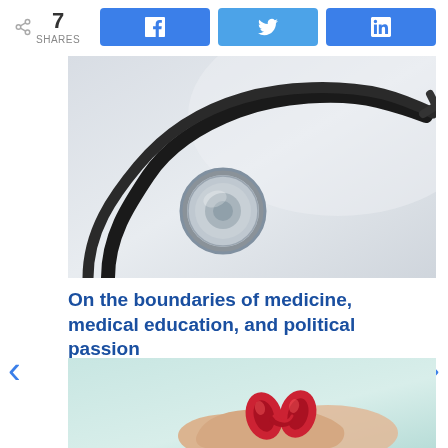7 SHARES | Facebook | Twitter | LinkedIn
[Figure (photo): A stethoscope on a light gray background, close-up view showing the chest piece and tubing.]
On the boundaries of medicine, medical education, and political passion
ROSALIND KAPLAN, MD | PHYSICIAN
[Figure (photo): Two hands cupping a red paper kidney model against a light teal background.]